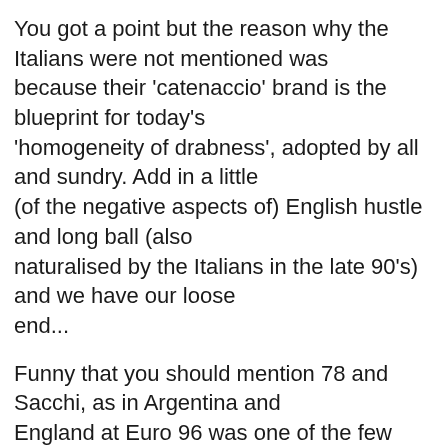You got a point but the reason why the Italians were not mentioned was because their 'catenaccio' brand is the blueprint for today's 'homogeneity of drabness', adopted by all and sundry. Add in a little (of the negative aspects of) English hustle and long ball (also naturalised by the Italians in the late 90's) and we have our loose end...
Funny that you should mention 78 and Sacchi, as in Argentina and England at Euro 96 was one of the few times the Italians have opted for the more expansive Calcio creed in their traditions. They didn't win which is probably why we haven't seen it all that